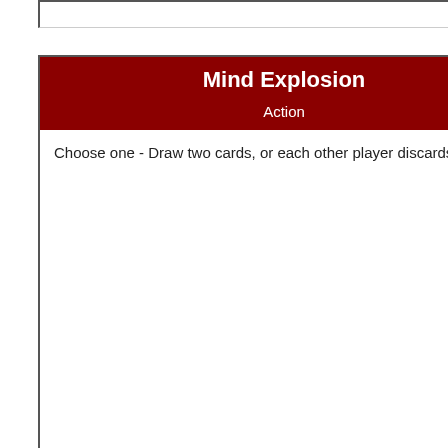[Figure (other): Partial card stub at top of page, cropped]
Mind Explosion
Action
Choose one - Draw two cards, or each other player discards a card.
Card by ChippyYYZ
Infinity Vortex
Thing
At the end of each player’s turn, they discard a card and put it face-down under Infinity